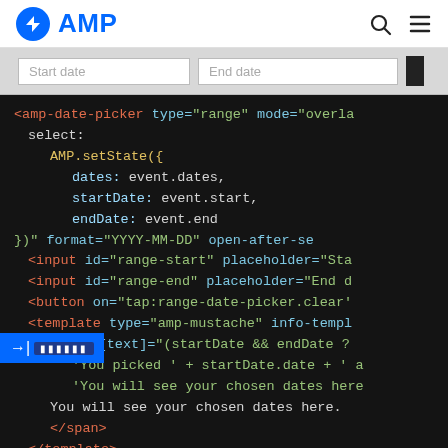AMP
[Figure (screenshot): Date picker UI with Start date and End date input fields]
[Figure (screenshot): Code editor showing AMP HTML code for amp-date-picker component with range type, overlay mode, AMP.setState handler, input fields, button and template elements]